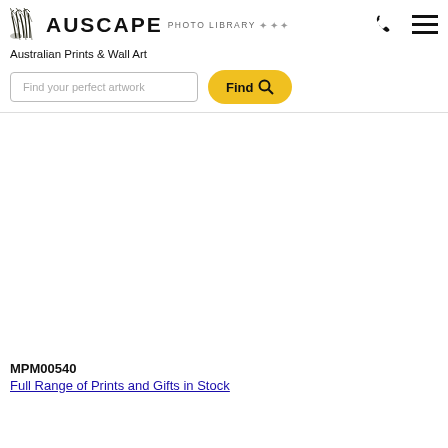[Figure (logo): Auscape Photo Library logo with plant/grass icon]
Australian Prints & Wall Art
Find your perfect artwork
[Figure (screenshot): Large white/empty main content area for product image]
MPM00540
Full Range of Prints and Gifts in Stock